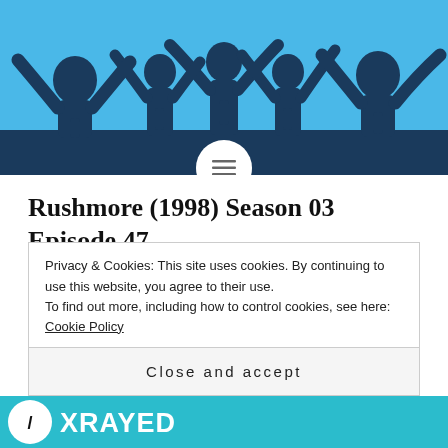[Figure (illustration): Website header banner showing dark blue silhouettes of people with microphones against a light blue background, with a circular hamburger menu icon at the bottom center.]
Rushmore (1998) Season 03 Episode 47
Shortcode We continue Season 3 of Flicks XRayed with episode 47 and this week we watch and review Rushmore. The host Tony is joined by co-host Scuba Club President Taylor guests President of the Bill Murray Fan Club Joe and Bombardment Alternate Sarah. This week we play Alternate
Privacy & Cookies: This site uses cookies. By continuing to use this website, you agree to their use.
To find out more, including how to control cookies, see here: Cookie Policy
Close and accept
[Figure (logo): XRayed podcast logo strip at the bottom of the page on a teal background.]